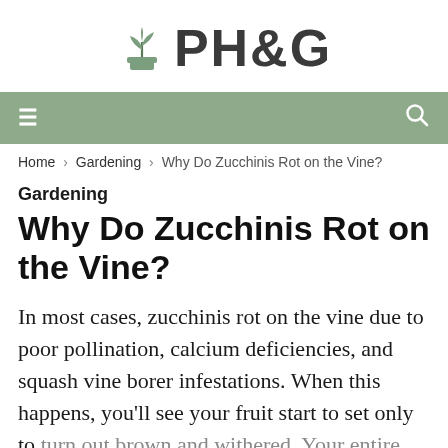PH&G
Home › Gardening › Why Do Zucchinis Rot on the Vine?
Gardening
Why Do Zucchinis Rot on the Vine?
In most cases, zucchinis rot on the vine due to poor pollination, calcium deficiencies, and squash vine borer infestations. When this happens, you'll see your fruit start to set only to turn out brown and withered. Your entire harvest could end up rotting away if you don't